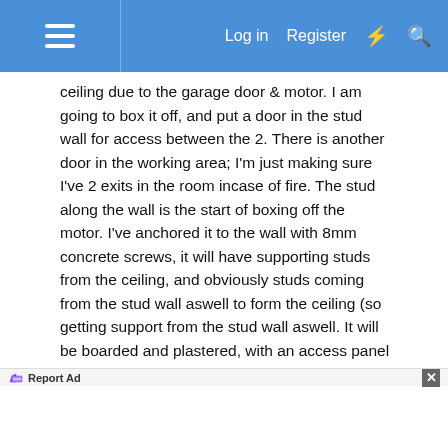≡   Log in   Register   ⚡   🔍
ceiling due to the garage door & motor. I am going to box it off, and put a door in the stud wall for access between the 2. There is another door in the working area; I'm just making sure I've 2 exits in the room incase of fire. The stud along the wall is the start of boxing off the motor. I've anchored it to the wall with 8mm concrete screws, it will have supporting studs from the ceiling, and obviously studs coming from the stud wall aswell to form the ceiling (so getting support from the stud wall aswell. It will be boarded and plastered, with an access panel to the motor incase of maintenance. Noggins also yet to go in.

Do you think that is enough support for the box round the motor? Should I have used sleeve anchors in the
[Figure (screenshot): Cat Game advertisement banner with orange PLAY NOW button]
Report Ad